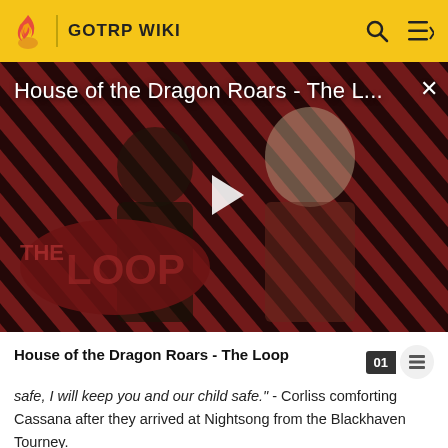GOTRP WIKI
[Figure (screenshot): Video thumbnail for 'House of the Dragon Roars - The Loop' showing two characters from House of the Dragon against a diagonal red and dark striped background with 'THE LOOP' text overlay and a play button in the center.]
House of the Dragon Roars - The Loop
safe, I will keep you and our child safe." - Corliss comforting Cassana after they arrived at Nightsong from the Blackhaven Tourney.